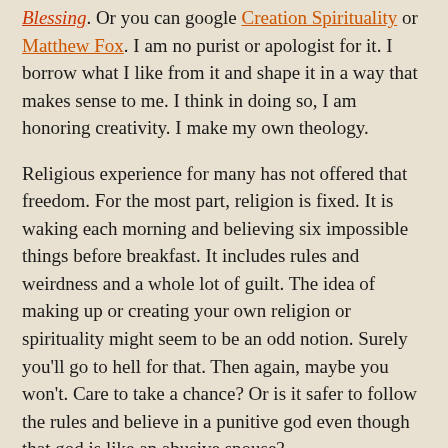Blessing. Or you can google Creation Spirituality or Matthew Fox. I am no purist or apologist for it. I borrow what I like from it and shape it in a way that makes sense to me. I think in doing so, I am honoring creativity. I make my own theology.
Religious experience for many has not offered that freedom. For the most part, religion is fixed. It is waking each morning and believing six impossible things before breakfast. It includes rules and weirdness and a whole lot of guilt. The idea of making up or creating your own religion or spirituality might seem to be an odd notion. Surely you'll go to hell for that. Then again, maybe you won't. Care to take a chance? Or is it safer to follow the rules and believe in a punitive god even though that god is like an abusive spouse?
We inherit our notions of God just by living in the culture. Our culture's god is a mean old cuss. He is a male, first off. Then he's tribal. He favors one group over another. He is always starting wars. He is racist. Look at the yokels running for president. They are all about god. Each one is just as holy and pure as mama's Bible. Their god doesn't want